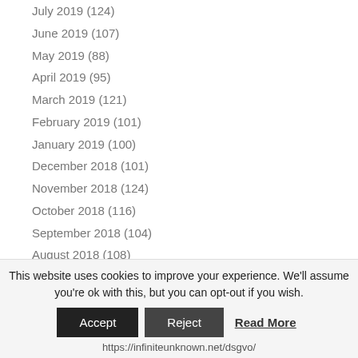July 2019 (124)
June 2019 (107)
May 2019 (88)
April 2019 (95)
March 2019 (121)
February 2019 (101)
January 2019 (100)
December 2018 (101)
November 2018 (124)
October 2018 (116)
September 2018 (104)
August 2018 (108)
July 2018 (110)
June 2018 (112)
May 2018 (293)
This website uses cookies to improve your experience. We'll assume you're ok with this, but you can opt-out if you wish.
Accept  Reject  Read More
https://infiniteunknown.net/dsgvo/